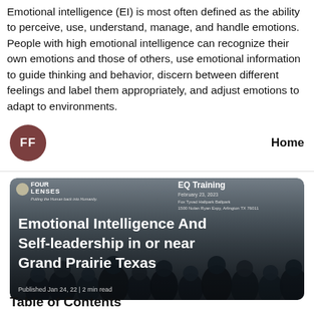Emotional intelligence (EI) is most often defined as the ability to perceive, use, understand, manage, and handle emotions. People with high emotional intelligence can recognize their own emotions and those of others, use emotional information to guide thinking and behavior, discern between different feelings and label them appropriately, and adjust emotions to adapt to environments.
[Figure (other): User avatar circle with initials FF on the left, and Home navigation link on the right]
[Figure (photo): Article card with background photo of audience/attendees at a seminar. Overlay text reads: Emotional Intelligence And Self-leadership in or near Grand Prairie Texas. Top left shows FourLenses logo with tagline Putting the Human back into Humanity. Top right shows EQ Training header, February 23 2023, Fox Tyvad Hallpark Ballpark, 1500 Nolan Ryan Expy Arlington TX 76011. Bottom shows Published Jan 24, 22 | 2 min read.]
Table of Contents